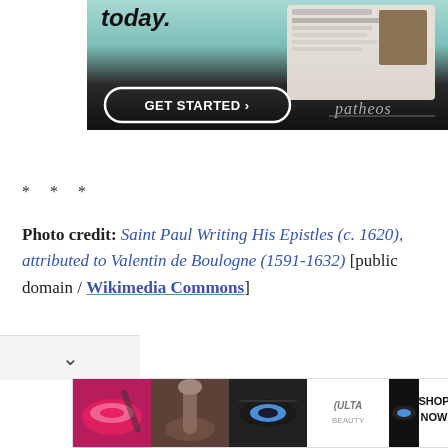[Figure (photo): Advertisement banner with 'GET STARTED >' button and Patheos logo on dark teal/black background with a profile card graphic]
* * *
Photo credit: Saint Paul Writing His Epistles (c. 1620), attributed to Valentin de Boulogne (1591-1632) [public domain / Wikimedia Commons]
[Figure (photo): ULTA Beauty advertisement banner at bottom with makeup product images and 'SHOP NOW' call to action]